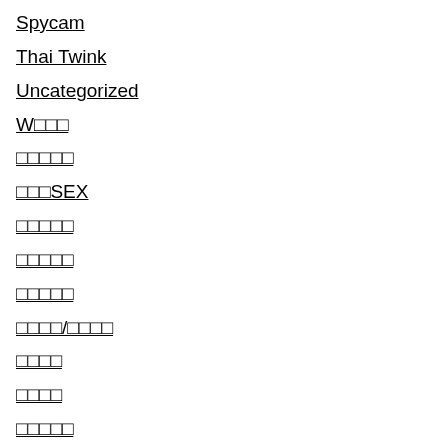Spycam
Thai Twink
Uncategorized
W□□□
□□□□□
□□□SEX
□□□□□
□□□□□
□□□□□
□□□□/□□□□
□□□□
□□□□
□□□□□